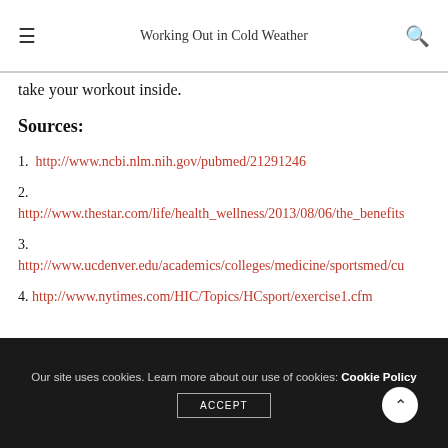Working Out in Cold Weather
take your workout inside.
Sources:
1. http://www.ncbi.nlm.nih.gov/pubmed/21291246
2. http://www.thestar.com/life/health_wellness/2013/08/06/the_benefits
3. http://www.ucdenver.edu/academics/colleges/medicine/sportsmed/cu
4. http://www.nytimes.com/HIC/Topics/HCsport/exercise1.cfm
Our site uses cookies. Learn more about our use of cookies: Cookie Policy